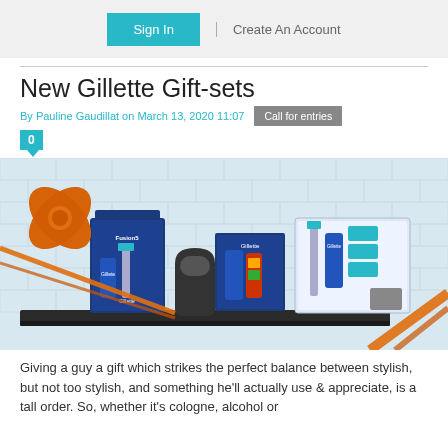Sign In | Create An Account
New Gillette Gift-sets
By Pauline Gaudillat on March 13, 2020 11:07   Call for entries
0
[Figure (photo): Gillette gift-set products displayed on a dark shelf against white brick background, with orange ribbon bow decoration. Shows multiple blue Gillette razor packaging sets including Fusion5 and other products.]
Giving a guy a gift which strikes the perfect balance between stylish, but not too stylish, and something he'll actually use & appreciate, is a tall order. So, whether it's cologne, alcohol or...